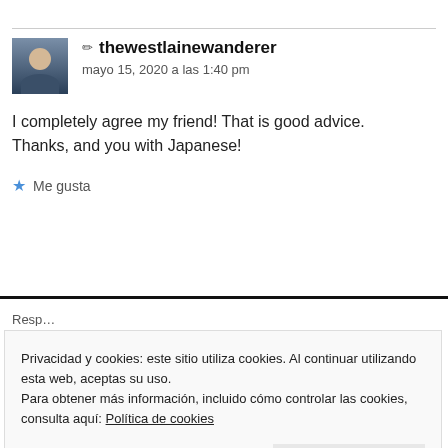[Figure (photo): User avatar photo showing a person in a dark jacket]
✏ thewestlainewanderer
mayo 15, 2020 a las 1:40 pm
I completely agree my friend! That is good advice. Thanks, and you with Japanese!
★ Me gusta
Privacidad y cookies: este sitio utiliza cookies. Al continuar utilizando esta web, aceptas su uso.
Para obtener más información, incluido cómo controlar las cookies, consulta aquí: Política de cookies
Cerrar y aceptar